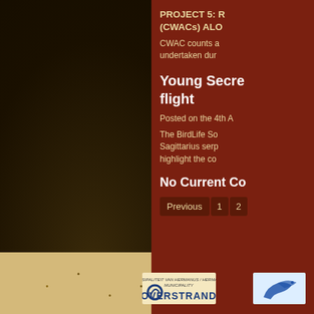PROJECT 5: R (CWACs) ALO CWAC counts a undertaken dur
Young Secre flight
Posted on the 4th A
The BirdLife So Sagittarius serp highlight the co
No Current Co
Previous  1  2
[Figure (logo): Overstrand municipality logo with stylized O and swirl]
[Figure (logo): BirdLife bird logo showing a stylized bird in flight]